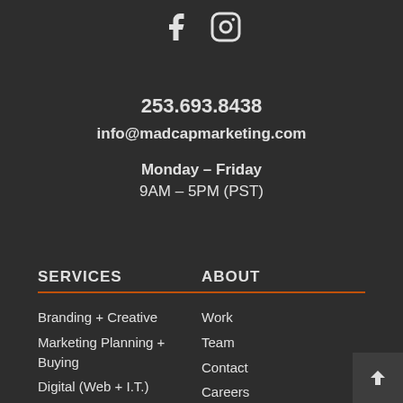[Figure (logo): Facebook and Instagram social media icons]
253.693.8438
info@madcapmarketing.com
Monday – Friday
9AM – 5PM (PST)
SERVICES
Branding + Creative
Marketing Planning + Buying
Digital (Web + I.T.)
Social Media
Photography +
ABOUT
Work
Team
Contact
Careers